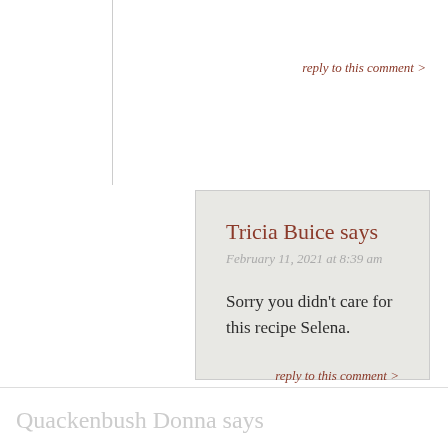reply to this comment >
Tricia Buice says
February 11, 2021 at 8:39 am
Sorry you didn't care for this recipe Selena.
reply to this comment >
Quackenbush Donna says